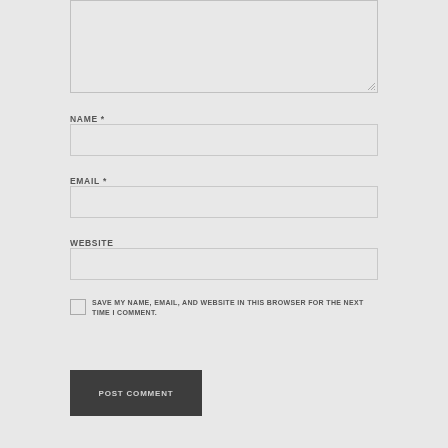[Figure (screenshot): A textarea input box (comment field) with resize handle at bottom-right, partially visible at top of page]
NAME *
[Figure (screenshot): A text input box for the Name field]
EMAIL *
[Figure (screenshot): A text input box for the Email field]
WEBSITE
[Figure (screenshot): A text input box for the Website field]
SAVE MY NAME, EMAIL, AND WEBSITE IN THIS BROWSER FOR THE NEXT TIME I COMMENT.
[Figure (screenshot): POST COMMENT button in dark gray]